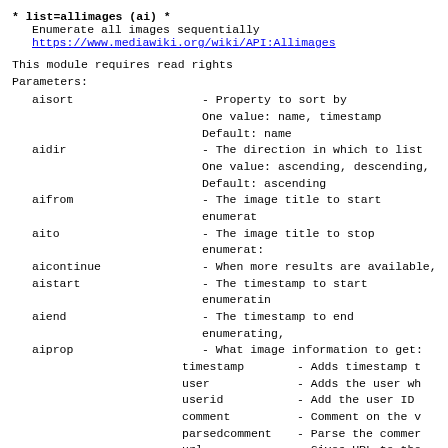* list=allimages (ai) *
  Enumerate all images sequentially
  https://www.mediawiki.org/wiki/API:Allimages
This module requires read rights
Parameters:
aisort - Property to sort by
  One value: name, timestamp
  Default: name
aidir - The direction in which to list
  One value: ascending, descending,
  Default: ascending
aifrom - The image title to start enumerat
aito - The image title to stop enumerat
aicontinue - When more results are available,
aistart - The timestamp to start enumeratin
aiend - The timestamp to end enumerating,
aiprop - What image information to get:
  timestamp - Adds timestamp t
  user - Adds the user wh
  userid - Add the user ID
  comment - Comment on the v
  parsedcomment - Parse the commer
  url - Gives URL to the
  size - Adds the size of
  dimensions - Alias for size
  sha1 - Adds SHA-1 hash
  mime - Adds MIME type o
  mediatype - Adds the media t